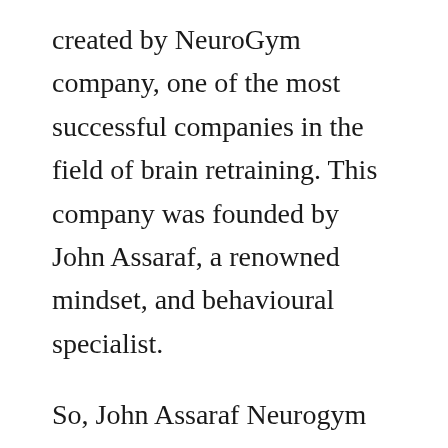created by NeuroGym company, one of the most successful companies in the field of brain retraining. This company was founded by John Assaraf, a renowned mindset, and behavioural specialist.
So, John Assaraf Neurogym Winning The Game Of Money Brain Training System relies on the latest achievements in the industry of brain science in order to help people achieve the goals and success they desire. This program includes twelve different